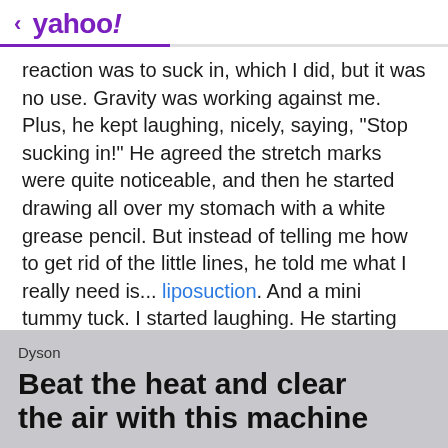< yahoo!
reaction was to suck in, which I did, but it was no use. Gravity was working against me. Plus, he kept laughing, nicely, saying, "Stop sucking in!" He agreed the stretch marks were quite noticeable, and then he started drawing all over my stomach with a white grease pencil. But instead of telling me how to get rid of the little lines, he told me what I really need is... liposuction. And a mini tummy tuck. I started laughing. He starting circling pockets of fat.
Ad   Scroll to continue with content   ...
Dyson
Beat the heat and clear the air with this machine